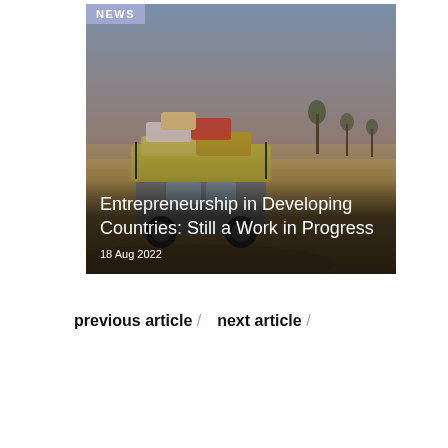[Figure (photo): A car heavily loaded with luggage on top, driving through an arid desert landscape with sparse trees and a dusty sky.]
Entrepreneurship in Developing Countries: Still a Work in Progress
18 Aug 2022
previous article /   next article /
What's in a Name? Why the Definition of Capitalism Matters